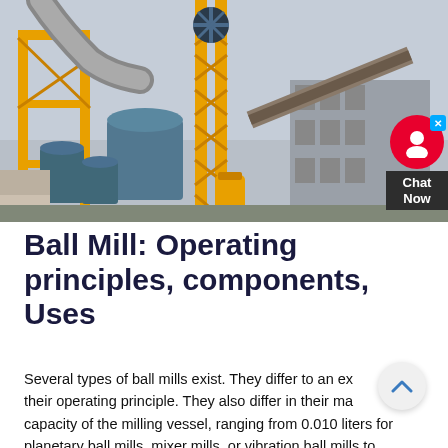[Figure (photo): Industrial ball mill facility with yellow scaffolding/framework, blue cylindrical equipment, conveyor belts, and large industrial buildings under overcast sky.]
Ball Mill: Operating principles, components, Uses
Several types of ball mills exist. They differ to an extent in their operating principle. They also differ in their maximum capacity of the milling vessel, ranging from 0.010 liters for planetary ball mills, mixer mills, or vibration ball mills to